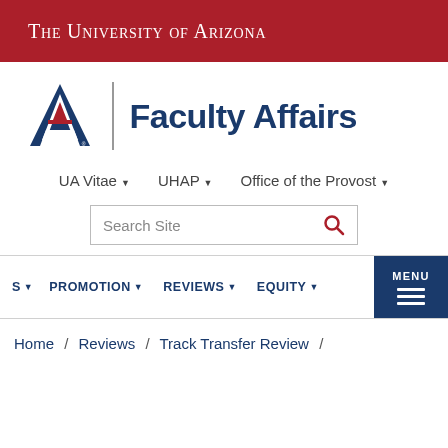The University of Arizona
[Figure (logo): University of Arizona block A logo with Faculty Affairs text]
UA Vitae ▾   UHAP ▾   Office of the Provost ▾
Search Site
S ▾   PROMOTION ▾   REVIEWS ▾   EQUITY ▾   MENU
Home / Reviews / Track Transfer Review /